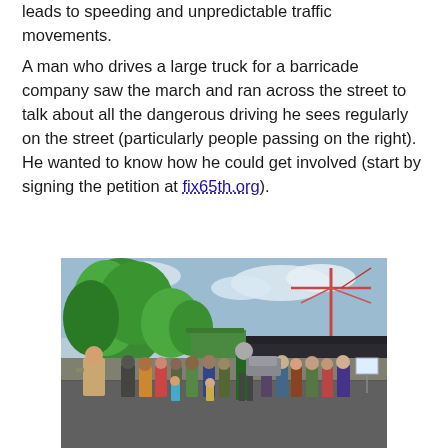leads to speeding and unpredictable traffic movements.
A man who drives a large truck for a barricade company saw the march and ran across the street to talk about all the dangerous driving he sees regularly on the street (particularly people passing on the right). He wanted to know how he could get involved (start by signing the petition at fix65th.org).
[Figure (photo): Outdoor gathering of people on a street. A man in a beige jacket speaks through a megaphone on the left. A crowd of adults and children stands listening. Green trees are visible in the background along with a construction crane and a building with a dark roof. The scene appears to be a community march or rally.]